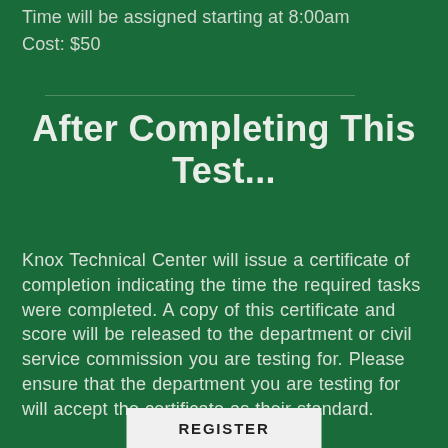Time will be assigned starting at 8:00am
Cost: $50
After Completing This Test...
Knox Technical Center will issue a certificate of completion indicating the time the required tasks were completed. A copy of this certificate and score will be released to the department or civil service commission you are testing for. Please ensure that the department you are testing for will accept the certificate as their standard.
REGISTER